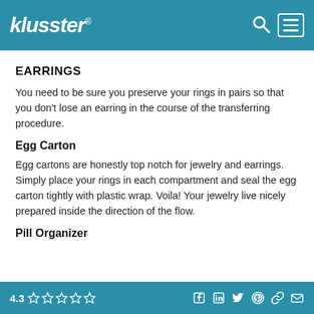klusster®
EARRINGS
You need to be sure you preserve your rings in pairs so that you don't lose an earring in the course of the transferring procedure.
Egg Carton
Egg cartons are honestly top notch for jewelry and earrings. Simply place your rings in each compartment and seal the egg carton tightly with plastic wrap. Voila! Your jewelry live nicely prepared inside the direction of the flow.
Pill Organizer
4.3 ☆☆☆☆☆